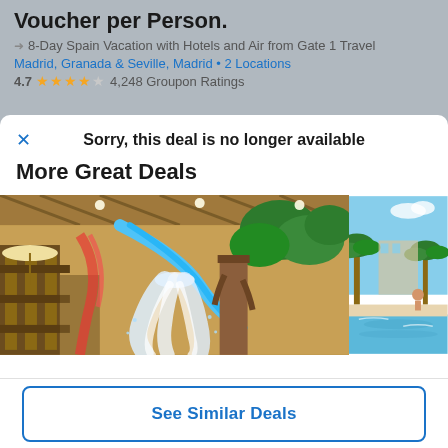Voucher per Person.
8-Day Spain Vacation with Hotels and Air from Gate 1 Travel
Madrid, Granada & Seville, Madrid • 2 Locations
4.7 ★★★★☆ 4,248 Groupon Ratings
Sorry, this deal is no longer available
More Great Deals
[Figure (photo): Indoor water park with large water bucket splash feature and tropical tree decorations]
[Figure (photo): Outdoor pool area with palm trees and blue sky]
See Similar Deals